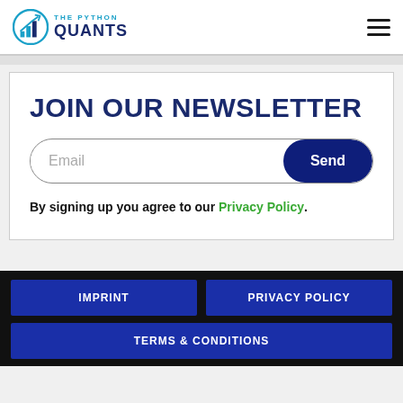[Figure (logo): The Python Quants logo with bar chart icon in teal and dark blue text]
JOIN OUR NEWSLETTER
By signing up you agree to our Privacy Policy.
IMPRINT | PRIVACY POLICY | TERMS & CONDITIONS